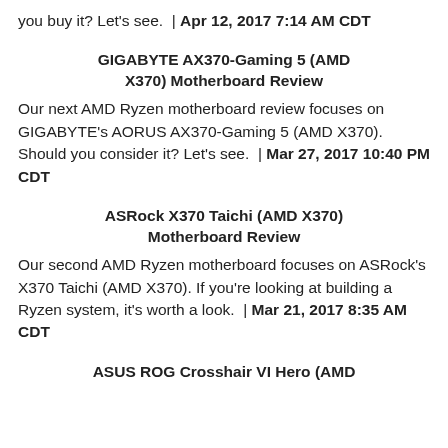you buy it? Let's see.  |  Apr 12, 2017 7:14 AM CDT
GIGABYTE AX370-Gaming 5 (AMD X370) Motherboard Review
Our next AMD Ryzen motherboard review focuses on GIGABYTE's AORUS AX370-Gaming 5 (AMD X370). Should you consider it? Let's see.  |  Mar 27, 2017 10:40 PM CDT
ASRock X370 Taichi (AMD X370) Motherboard Review
Our second AMD Ryzen motherboard focuses on ASRock's X370 Taichi (AMD X370). If you're looking at building a Ryzen system, it's worth a look.  |  Mar 21, 2017 8:35 AM CDT
ASUS ROG Crosshair VI Hero (AMD